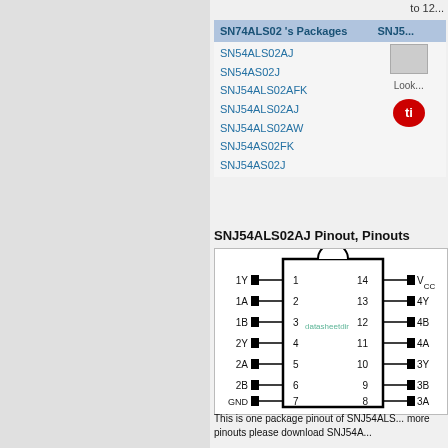to 12...
| SN74ALS02 's Packages | SNJ5... |
| --- | --- |
| SN54ALS02AJ
SN54AS02J
SNJ54ALS02AFK
SNJ54ALS02AJ
SNJ54ALS02AW
SNJ54AS02FK
SNJ54AS02J | [Look][TI logo] |
SNJ54ALS02AJ Pinout, Pinouts
[Figure (engineering-diagram): IC pinout diagram for SNJ54ALS02AJ 14-pin DIP package showing pins 1-14 with labels: 1Y, 1A, 1B, 2Y, 2A, 2B, GND on left side (pins 1-7) and VCC, 4Y, 4B, 4A, 3Y, 3B, 3A on right side (pins 14-8). Watermark: datasheetdir]
This is one package pinout of SNJ54ALS... more pinouts please download SNJ54A...